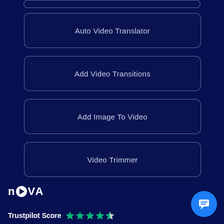[Figure (screenshot): Partial button at top of page]
Auto Video Translator
Add Video Transitions
Add Image To Video
Video Trimmer
[Figure (logo): NOVA logo with play button icon]
Trustpilot Score ★★★★☆